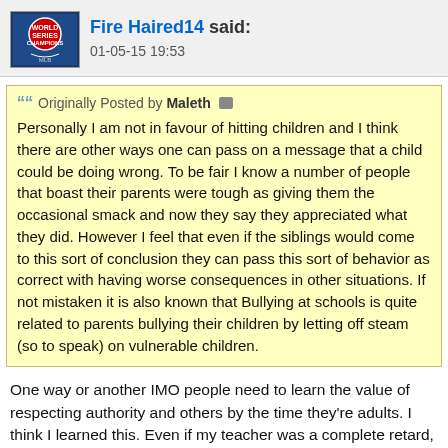Fire Haired14 said: 01-05-15 19:53
Originally Posted by Maleth
Personally I am not in favour of hitting children and I think there are other ways one can pass on a message that a child could be doing wrong. To be fair I know a number of people that boast their parents were tough as giving them the occasional smack and now they say they appreciated what they did. However I feel that even if the siblings would come to this sort of conclusion they can pass this sort of behavior as correct with having worse consequences in other situations. If not mistaken it is also known that Bullying at schools is quite related to parents bullying their children by letting off steam (so to speak) on vulnerable children.
One way or another IMO people need to learn the value of respecting authority and others by the time they're adults. I think I learned this. Even if my teacher was a complete retard, gave me detentions of no reason, etc. I would take it. I would still give them respect, not be an *******, and attempt to stop what they're doing without raising my voice(they'll be more likely to listen, usually). Too many people like many of the next to adults here, think they...